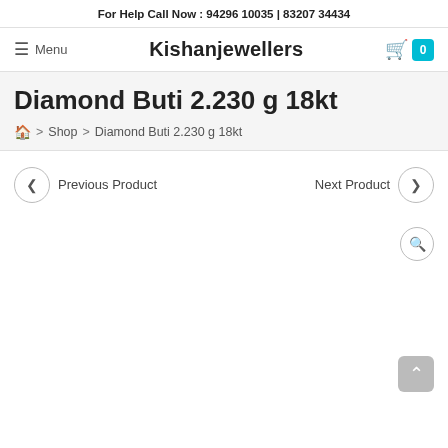For Help Call Now : 94296 10035 | 83207 34434
≡ Menu   Kishanjewellers   🛒 0
Diamond Buti 2.230 g 18kt
🏠 > Shop > Diamond Buti 2.230 g 18kt
◀ Previous Product     Next Product ▶
[Figure (other): Product image area with magnify icon (search icon in top right corner), mostly blank/white product display area]